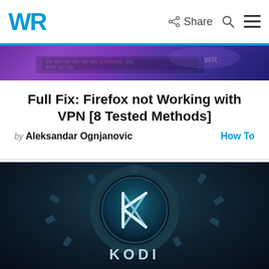WR | Share | Search | Menu
[Figure (photo): Partially visible laptop/computer image with purple/violet lighting, top of article card]
Full Fix: Firefox not Working with VPN [8 Tested Methods]
by Aleksandar Ognjanovic   How To
[Figure (photo): Kodi logo — glowing teal circular emblem with stylized K on dark background, KODI text below]